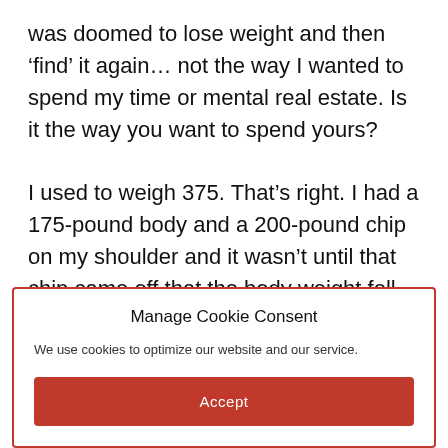was doomed to lose weight and then 'find' it again… not the way I wanted to spend my time or mental real estate. Is it the way you want to spend yours?

I used to weigh 375. That's right. I had a 175-pound body and a 200-pound chip on my shoulder and it wasn't until that chip came off that the body weight fell away – and has stayed away. That was a revelation for me and I became certified as both a Life and Weight Coach because I want to help you
Manage Cookie Consent
We use cookies to optimize our website and our service.
Accept